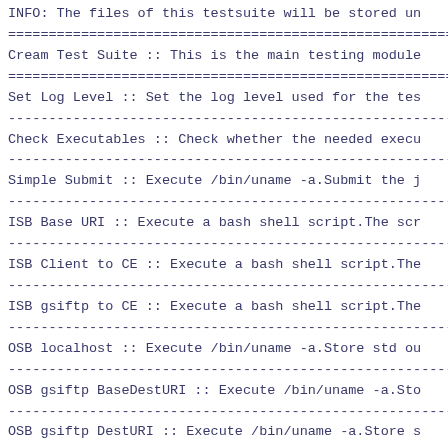INFO: The files of this testsuite will be stored un
============================================================
Cream Test Suite :: This is the main testing module
============================================================
Set Log Level :: Set the log level used for the tes
------------------------------------------------------------
Check Executables :: Check whether the needed execu
------------------------------------------------------------
Simple Submit :: Execute /bin/uname -a.Submit the j
------------------------------------------------------------
ISB Base URI :: Execute a bash shell script.The scr
------------------------------------------------------------
ISB Client to CE :: Execute a bash shell script.The
------------------------------------------------------------
ISB gsiftp to CE :: Execute a bash shell script.The
------------------------------------------------------------
OSB localhost :: Execute /bin/uname -a.Store std ou
------------------------------------------------------------
OSB gsiftp BaseDestURI :: Execute /bin/uname -a.Sto
------------------------------------------------------------
OSB gsiftp DestURI :: Execute /bin/uname -a.Store s
------------------------------------------------------------
Environment :: Execute a bash shell script.The scri
------------------------------------------------------------